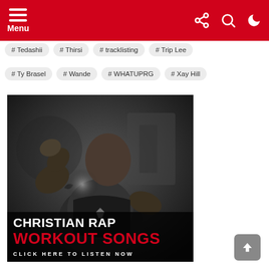Menu
# Tedashii  # Thirsi  # tracklisting  # Trip Lee
# Ty Brasel  # Wande  # WHATUPRG  # Xay Hill
[Figure (photo): Black and white photo of a muscular man flexing in a gym, with text overlay reading 'CHRISTIAN RAP WORKOUT SONGS CLICK HERE TO LISTEN NOW']